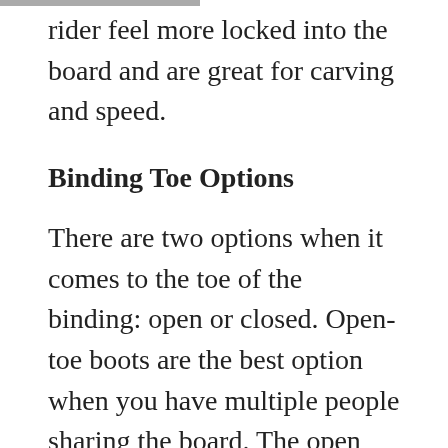rider feel more locked into the board and are great for carving and speed.
Binding Toe Options
There are two options when it comes to the toe of the binding: open or closed. Open-toe boots are the best option when you have multiple people sharing the board. The open toe design allows a few more shoe sizes to fit into the